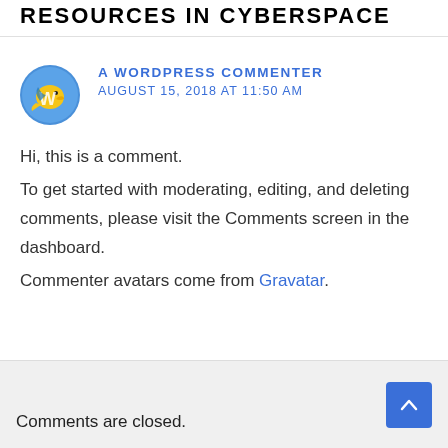RESOURCES IN CYBERSPACE
[Figure (logo): WordPress commenter avatar - yellow dolphin/mascot logo on blue circular background]
A WORDPRESS COMMENTER
AUGUST 15, 2018 AT 11:50 AM
Hi, this is a comment.
To get started with moderating, editing, and deleting comments, please visit the Comments screen in the dashboard.
Commenter avatars come from Gravatar.
Comments are closed.